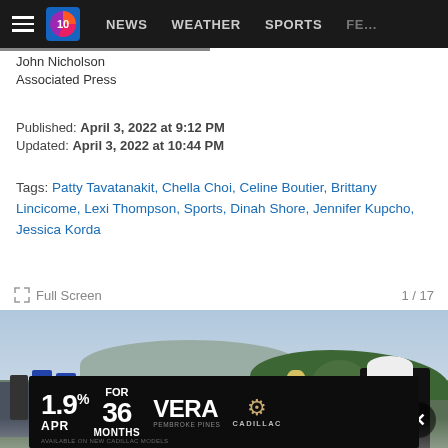NEWS  WEATHER  SPORTS  FE...
John Nicholson
Associated Press
Published: April 3, 2022 at 9:12 PM
Updated: April 3, 2022 at 10:44 PM
Tags: Patty Tavatanakit, Chella Choi, Celine Boutier, Brittany Lincicome, Lexi Thompson, Sports, Dinah Shore, Jennifer Kupcho, Jessica Korda
Full Screen  1 / 17
[Figure (photo): Golf tournament photo showing a golfer in black outfit and white cap holding a trophy, with a crowd of spectators and palm trees in the background]
[Figure (other): Advertisement: 1.9% APR FOR 36 MONTHS - VERA CADILLAC PEMBROKE PINES. Available on new Cadillac models.]